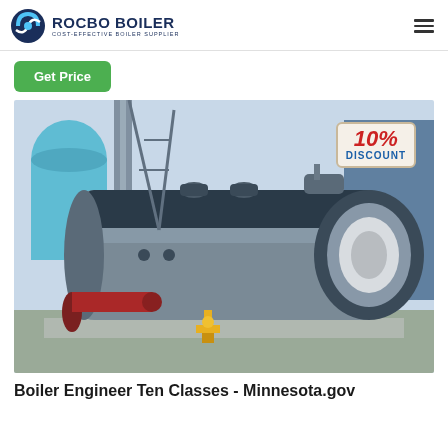ROCBO BOILER - COST-EFFECTIVE BOILER SUPPLIER
Get Price
[Figure (photo): Large industrial fire-tube boiler on concrete platform outdoors at a manufacturing facility, with red gas tank and yellow valve assembly in foreground. A 10% DISCOUNT badge is overlaid in the upper right corner of the photo.]
Boiler Engineer Ten Classes - Minnesota.gov